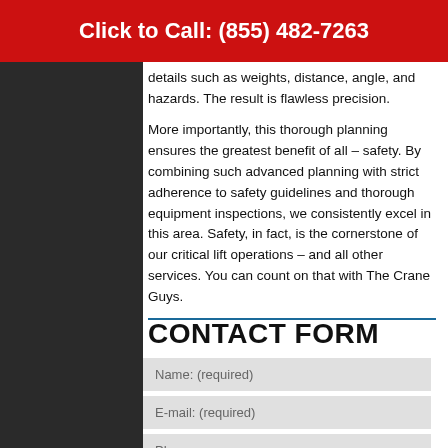Click to Call: (855) 482-7263
details such as weights, distance, angle, and hazards. The result is flawless precision.
More importantly, this thorough planning ensures the greatest benefit of all – safety. By combining such advanced planning with strict adherence to safety guidelines and thorough equipment inspections, we consistently excel in this area. Safety, in fact, is the cornerstone of our critical lift operations – and all other services. You can count on that with The Crane Guys.
CONTACT FORM
Name: (required)
E-mail: (required)
Phone:
Subject:
Message: